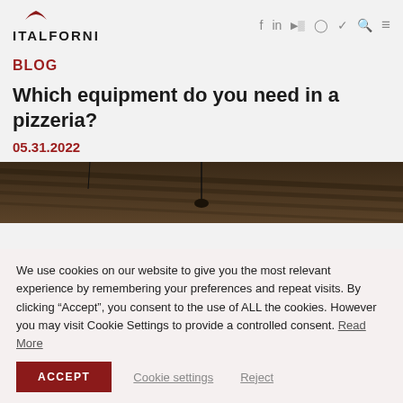ITALFORNI
BLOG
Which equipment do you need in a pizzeria?
05.31.2022
[Figure (photo): Interior ceiling of a pizzeria restaurant, dark tones]
We use cookies on our website to give you the most relevant experience by remembering your preferences and repeat visits. By clicking “Accept”, you consent to the use of ALL the cookies. However you may visit Cookie Settings to provide a controlled consent. Read More
ACCEPT | Cookie settings | Reject